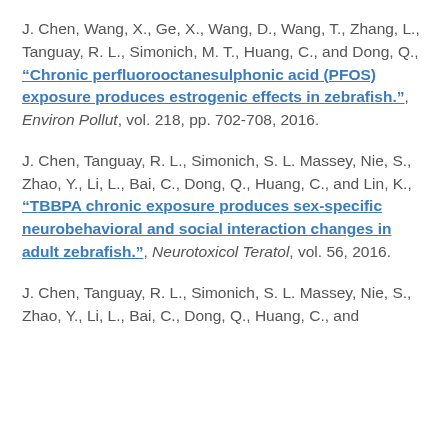J. Chen, Wang, X., Ge, X., Wang, D., Wang, T., Zhang, L., Tanguay, R. L., Simonich, M. T., Huang, C., and Dong, Q., "Chronic perfluorooctanesulphonic acid (PFOS) exposure produces estrogenic effects in zebrafish.", Environ Pollut, vol. 218, pp. 702-708, 2016.
J. Chen, Tanguay, R. L., Simonich, S. L. Massey, Nie, S., Zhao, Y., Li, L., Bai, C., Dong, Q., Huang, C., and Lin, K., "TBBPA chronic exposure produces sex-specific neurobehavioral and social interaction changes in adult zebrafish.", Neurotoxicol Teratol, vol. 56, 2016.
J. Chen, Tanguay, R. L., Simonich, S. L. Massey, Nie, S., Zhao, Y., Li, L., Bai, C., Dong, Q., Huang, C., and ...